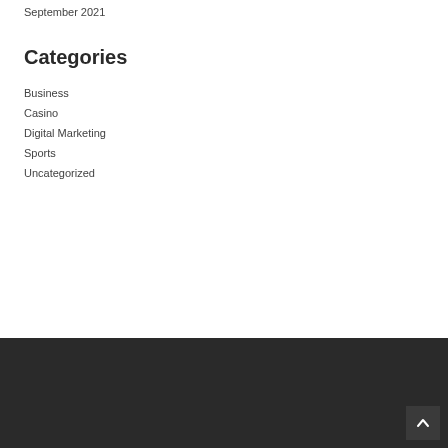September 2021
Categories
Business
Casino
Digital Marketing
Sports
Uncategorized